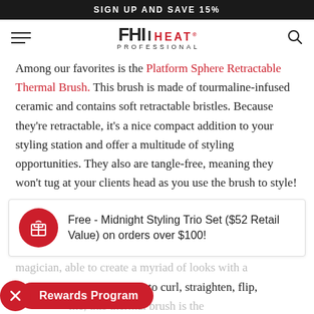SIGN UP AND SAVE 15%
FHI HEAT PROFESSIONAL
Among our favorites is the Platform Sphere Retractable Thermal Brush. This brush is made of tourmaline-infused ceramic and contains soft retractable bristles. Because they’re retractable, it’s a nice compact addition to your styling station and offer a multitude of styling opportunities. They also are tangle-free, meaning they won’t tug at your clients head as you use the brush to style!
Free - Midnight Styling Trio Set ($52 Retail Value) on orders over $100!
magician, able to create a myriad of looks with a single tool. Whether you want to curl, straighten, flip, ... me, this thermal brush is the ... quickly.
Rewards Program